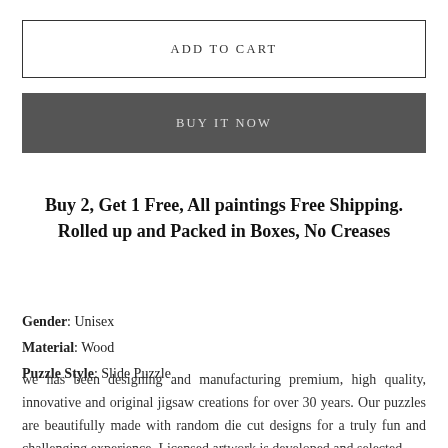ADD TO CART
BUY IT NOW
Buy 2, Get 1 Free, All paintings Free Shipping. Rolled up and Packed in Boxes, No Creases
Gender: Unisex
Material: Wood
Puzzle Style: Slide Puzzle
we has been designing and manufacturing premium, high quality, innovative and original jigsaw creations for over 30 years. Our puzzles are beautifully made with random die cut designs for a truly fun and challenging experience. Licensed artwork is developed and selected